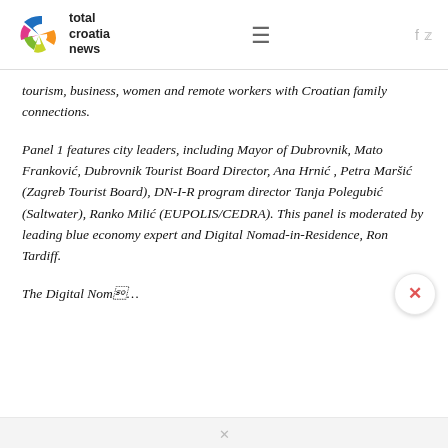total croatia news
tourism, business, women and remote workers with Croatian family connections.
Panel 1 features city leaders, including Mayor of Dubrovnik, Mato Franković, Dubrovnik Tourist Board Director, Ana Hrnić , Petra Maršić (Zagreb Tourist Board), DN-I-R program director Tanja Polegubić (Saltwater), Ranko Milić (EUPOLIS/CEDRA). This panel is moderated by leading blue economy expert and Digital Nomad-in-Residence, Ron Tardiff.
The Digital Nom…